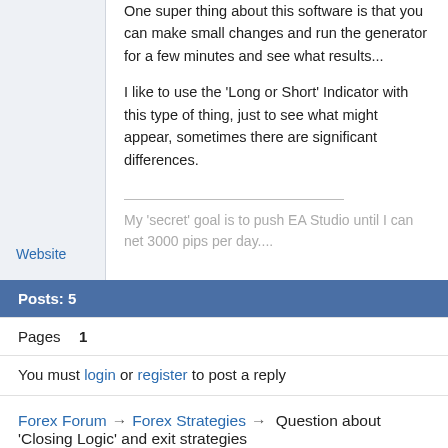One super thing about this software is that you can make small changes and run the generator for a few minutes and see what results...

I like to use the 'Long or Short' Indicator with this type of thing, just to see what might appear, sometimes there are significant differences.
My 'secret' goal is to push EA Studio until I can net 3000 pips per day....
Website
Posts: 5
Pages  1
You must login or register to post a reply
Forex Forum → Forex Strategies → Question about 'Closing Logic' and exit strategies